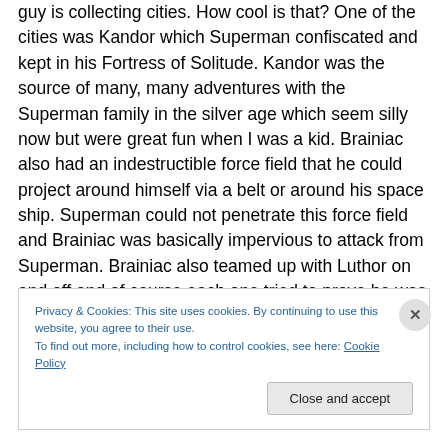guy is collecting cities. How cool is that? One of the cities was Kandor which Superman confiscated and kept in his Fortress of Solitude. Kandor was the source of many, many adventures with the Superman family in the silver age which seem silly now but were great fun when I was a kid. Brainiac also had an indestructible force field that he could project around himself via a belt or around his space ship. Superman could not penetrate this force field and Brainiac was basically impervious to attack from Superman. Brainiac also teamed up with Luthor on and off and of course each one tried to prove he was more
Privacy & Cookies: This site uses cookies. By continuing to use this website, you agree to their use.
To find out more, including how to control cookies, see here: Cookie Policy